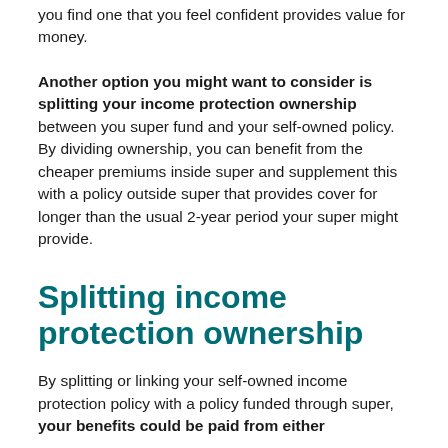you find one that you feel confident provides value for money.
Another option you might want to consider is splitting your income protection ownership between you super fund and your self-owned policy. By dividing ownership, you can benefit from the cheaper premiums inside super and supplement this with a policy outside super that provides cover for longer than the usual 2-year period your super might provide.
Splitting income protection ownership
By splitting or linking your self-owned income protection policy with a policy funded through super, your benefits could be paid from either